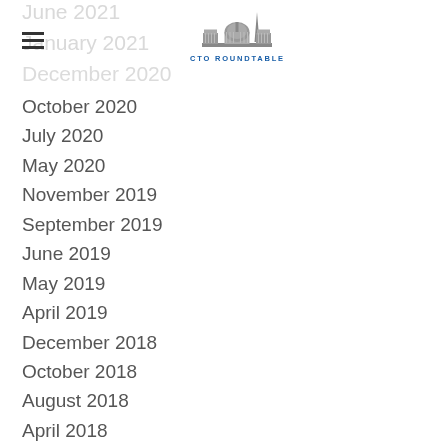CTO ROUNDTABLE logo
June 2021
January 2021
December 2020
October 2020
July 2020
May 2020
November 2019
September 2019
June 2019
May 2019
April 2019
December 2018
October 2018
August 2018
April 2018
January 2018
December 2017
August 2017
July 2017